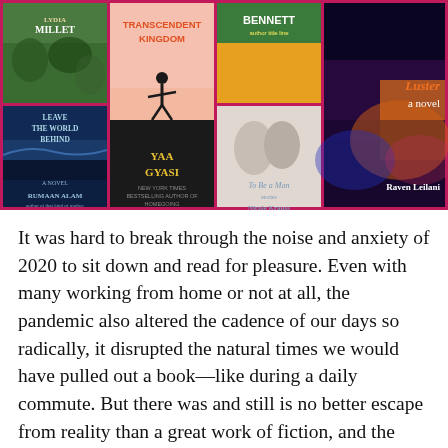[Figure (illustration): A collage of book covers on a magenta/pink background. Books visible include: 'Lydia Millet' (green/dark cover), 'Transcendent Kingdom' by Yaa Gyasi (pink and black cover), a book by Bennett (orange/green cover), 'Leave the World Behind' by Rumaan Alam (dark blue cover), a book 'To Be a Man' by Nicole Krauss (beige/gray cover with two faces), and 'Luster a novel' by Raven Leilani (dark multicolor cover with orange text).]
It was hard to break through the noise and anxiety of 2020 to sit down and read for pleasure. Even with many working from home or not at all, the pandemic also altered the cadence of our days so radically, it disrupted the natural times we would have pulled out a book—like during a daily commute. But there was and still is no better escape from reality than a great work of fiction, and the following books would make great gifts for yourself or a friend this season. One positive trend we're excited to